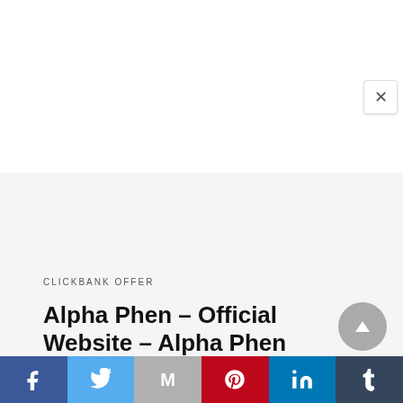[Figure (screenshot): White area representing top portion of a webpage with a close (X) button in top-right corner]
CLICKBANK OFFER
Alpha Phen – Official Website – Alpha Phen Reviews
[Figure (infographic): Social share bar with Facebook, Twitter, Gmail, Pinterest, LinkedIn, and Tumblr buttons]